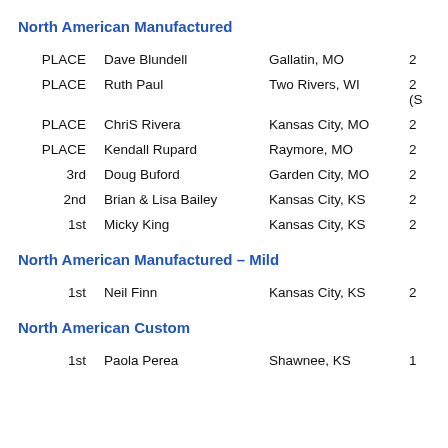North American Manufactured
PLACE  Dave Blundell  Gallatin, MO  2
PLACE  Ruth Paul  Two Rivers, WI  2 (S
PLACE  ChriS Rivera  Kansas City, MO  2
PLACE  Kendall Rupard  Raymore, MO  2
3rd  Doug Buford  Garden City, MO  2
2nd  Brian & Lisa Bailey  Kansas City, KS  2
1st  Micky King  Kansas City, KS  2
North American Manufactured – Mild
1st  Neil Finn  Kansas City, KS  2
North American Custom
1st  Paola Perea  Shawnee, KS  1